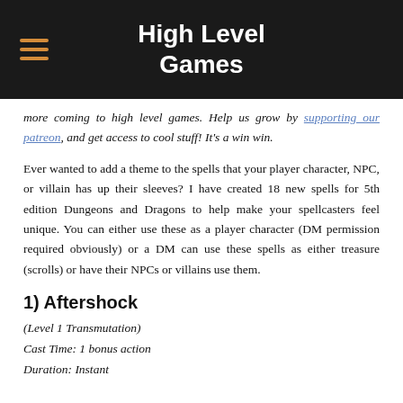High Level Games
more coming to high level games. Help us grow by supporting our patreon, and get access to cool stuff! It's a win win.
Ever wanted to add a theme to the spells that your player character, NPC, or villain has up their sleeves? I have created 18 new spells for 5th edition Dungeons and Dragons to help make your spellcasters feel unique. You can either use these as a player character (DM permission required obviously) or a DM can use these spells as either treasure (scrolls) or have their NPCs or villains use them.
1) Aftershock
(Level 1 Transmutation)
Cast Time: 1 bonus action
Duration: Instant